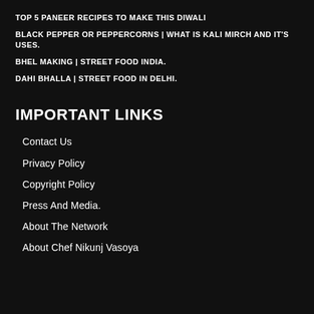TOP 5 PANEER RECIPES TO MAKE THIS DIWALI
BLACK PEPPER OR PEPPERCORNS | WHAT IS KALI MIRCH AND IT'S USES.
BHEL MAKING | STREET FOOD INDIA.
DAHI BHALLA | STREET FOOD IN DELHI.
IMPORTANT LINKS
Contact Us
Privacy Policy
Copyright Policy
Press And Media.
About The Network
About Chef Nikunj Vasoya